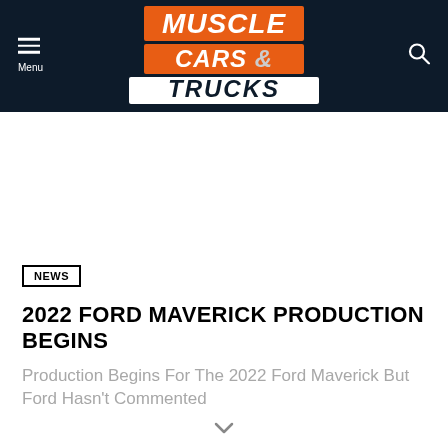Muscle Cars & Trucks
[Figure (logo): Muscle Cars & Trucks logo with orange and white bold italic text on dark navy background, with hamburger menu icon and search icon]
NEWS
2022 FORD MAVERICK PRODUCTION BEGINS
Production Begins For The 2022 Ford Maverick But Ford Hasn't Commented